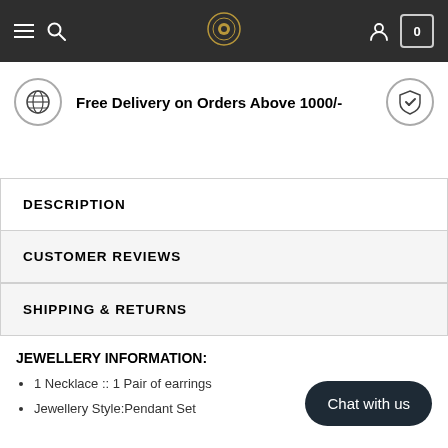Navigation bar with hamburger menu, search, logo, account, and cart
Free Delivery on Orders Above 1000/-
DESCRIPTION
CUSTOMER REVIEWS
SHIPPING & RETURNS
JEWELLERY INFORMATION:
1 Necklace :: 1 Pair of earrings
Jewellery Style:Pendant Set